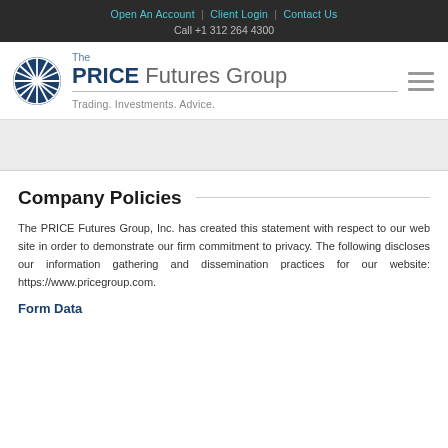Open An Account | Client Login | Contact Us
Call +1 312 264 4300
[Figure (logo): The PRICE Futures Group logo — blue globe icon with tagline 'Trading. Investments. Advice.']
Company Policies
The PRICE Futures Group, Inc. has created this statement with respect to our web site in order to demonstrate our firm commitment to privacy. The following discloses our information gathering and dissemination practices for our website: https://www.pricegroup.com.
Form Data